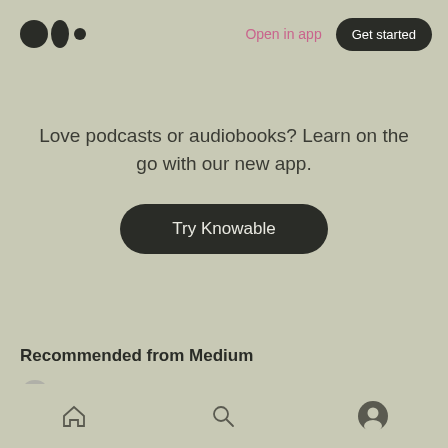Medium logo | Open in app | Get started
Love podcasts or audiobooks? Learn on the go with our new app.
Try Knowable
Recommended from Medium
johbost
Hyperobjects and Electronic Music:
Home | Search | Profile